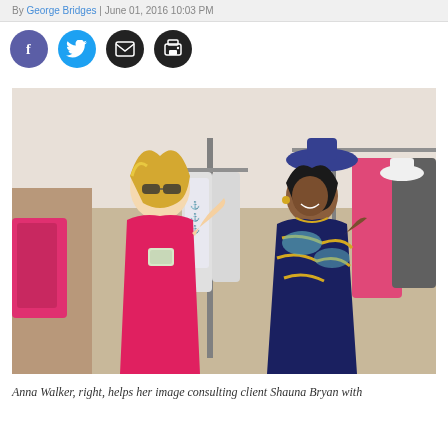By George Bridges | June 01, 2016 10:03 PM
[Figure (photo): Two women in a clothing boutique store. On the left, a woman with blonde highlighted hair wearing a pink/coral dress holds a small decorative clutch purse. On the right, a woman wearing a navy blue dress with gold and teal scarf print laughs and gestures. Clothing racks and colorful garments are visible in the background.]
Anna Walker, right, helps her image consulting client Shauna Bryan with